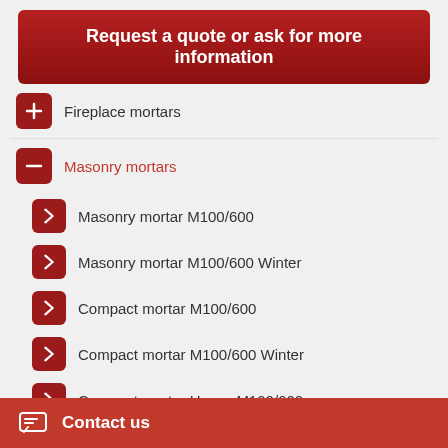Request a quote or ask for more information
Fireplace mortars
Masonry mortars
Masonry mortar M100/600
Masonry mortar M100/600 Winter
Compact mortar M100/600
Compact mortar M100/600 Winter
Compact mortar Heavy M100/600
Compact mortar Heavy M100/600 Winter
Winter-time masonry mortar TML
Block mortar M100/500
Contact us